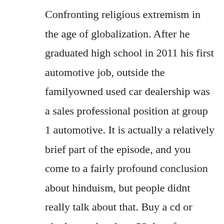Confronting religious extremism in the age of globalization. After he graduated high school in 2011 his first automotive job, outside the familyowned used car dealership was a sales professional position at group 1 automotive. It is actually a relatively brief part of the episode, and you come to a fairly profound conclusion about hinduism, but people didnt really talk about that. Buy a cd or vinyl record and get 90 days free amazon music unlimited with the purchase of a cd or vinyl record dispatched from and sold by amazon, you get 90 days free access to. David and the grumpy